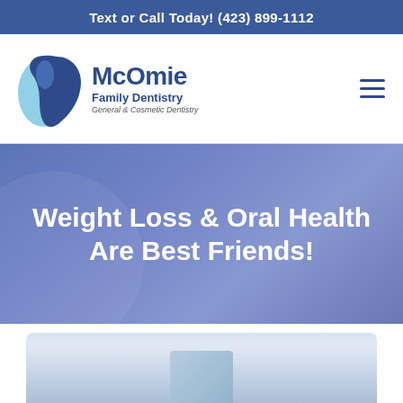Text or Call Today! (423) 899-1112
[Figure (logo): McOmie Family Dentistry logo with tooth icon in blue and light blue, text reads McOmie Family Dentistry, General & Cosmetic Dentistry]
Weight Loss & Oral Health Are Best Friends!
[Figure (photo): Partial photo of dental-related imagery at the bottom of the page, light blue and white tones]